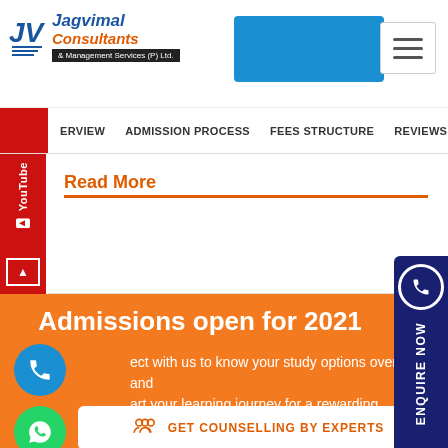[Figure (logo): Jagvimal Consultants & Management Services (P) Ltd. logo with blue and orange text]
ERVIEW   ADMISSION PROCESS   FEES STRUCTURE   REVIEWS   ENQU
Read More
Admissions open for 2021
Connect with us to know your study options overseas and start your learning journey for a rewarding experience!
GET COUNSELLING BY EXPERTS